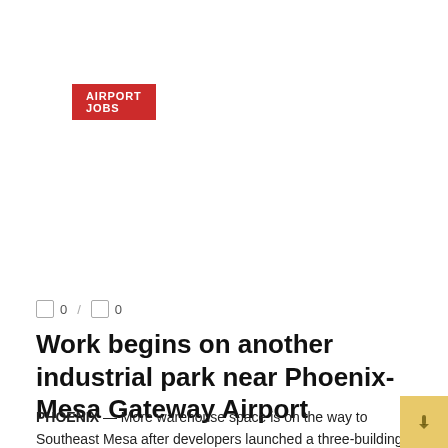AIRPORT JOBS
0 / 0
Work begins on another industrial park near Phoenix-Mesa Gateway Airport
PHOENIX — More warehouse space is on the way to Southeast Mesa after developers launched a three-building industrial park project on Tuesday. When complete, Advanced Industrial ...